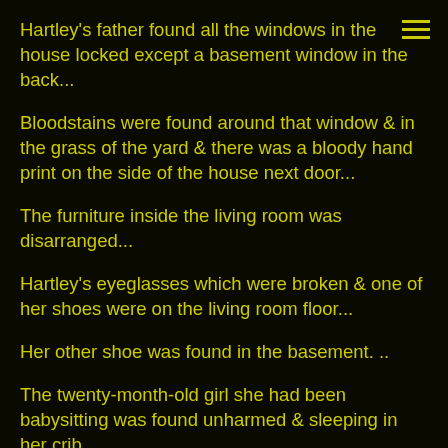Hartley's father found all the windows in the house locked except a basement window in the back...
Bloodstains were found around that window & in the grass of the yard & there was a bloody hand print on the side of the house next door...
The furniture inside the living room was disarranged...
Hartley's eyeglasses which were broken & one of her shoes were on the living room floor...
Her other shoe was found in the basement. ..
The twenty-month-old girl she had been babysitting was found unharmed & sleeping in her crib.